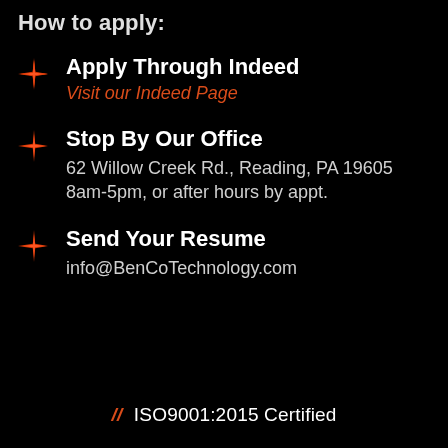How to apply:
Apply Through Indeed
Visit our Indeed Page
Stop By Our Office
62 Willow Creek Rd., Reading, PA 19605
8am-5pm, or after hours by appt.
Send Your Resume
info@BenCoTechnology.com
// ISO9001:2015 Certified